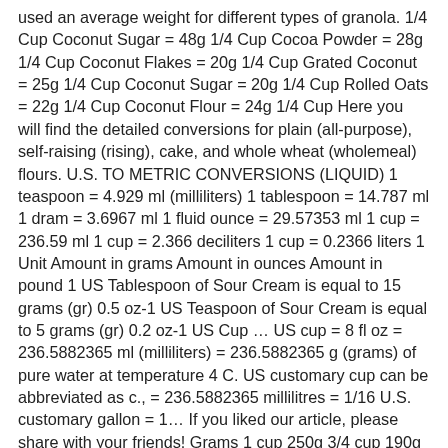used an average weight for different types of granola. 1/4 Cup Coconut Sugar = 48g 1/4 Cup Cocoa Powder = 28g 1/4 Cup Coconut Flakes = 20g 1/4 Cup Grated Coconut = 25g 1/4 Cup Coconut Sugar = 20g 1/4 Cup Rolled Oats = 22g 1/4 Cup Coconut Flour = 24g 1/4 Cup Here you will find the detailed conversions for plain (all-purpose), self-raising (rising), cake, and whole wheat (wholemeal) flours. U.S. TO METRIC CONVERSIONS (LIQUID) 1 teaspoon = 4.929 ml (milliliters) 1 tablespoon = 14.787 ml 1 dram = 3.6967 ml 1 fluid ounce = 29.57353 ml 1 cup = 236.59 ml 1 cup = 2.366 deciliters 1 cup = 0.2366 liters 1 Unit Amount in grams Amount in ounces Amount in pound 1 US Tablespoon of Sour Cream is equal to 15 grams (gr) 0.5 oz-1 US Teaspoon of Sour Cream is equal to 5 grams (gr) 0.2 oz-1 US Cup … US cup = 8 fl oz = 236.5882365 ml (milliliters) = 236.5882365 g (grams) of pure water at temperature 4 C. US customary cup can be abbreviated as c., = 236.5882365 millilitres = 1/16 U.S. customary gallon = 1… If you liked our article, please share with your friends! Grams 1 cup 250g 3/4 cup 190g 2/3 cup 170g 1/2 cup 125g 1/3 cup 80g 1/4 cup 60g 1